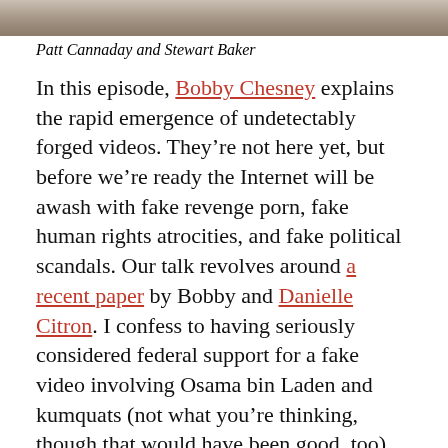[Figure (photo): Cropped photo showing two people, Patt Cannaday and Stewart Baker, at top of page]
Patt Cannaday and Stewart Baker
In this episode, Bobby Chesney explains the rapid emergence of undetectably forged videos. They’re not here yet, but before we’re ready the Internet will be awash with fake revenge porn, fake human rights atrocities, and fake political scandals. Our talk revolves around a recent paper by Bobby and Danielle Citron. I confess to having seriously considered federal support for a fake video involving Osama bin Laden and kumquats (not what you’re thinking, though that would have been good, too). Bobby and I discuss the ways in which the body politic – and particular political bodies – might protect themselves. This leads Bobby to propose a special Cyberlaw Podcast mug for best listener